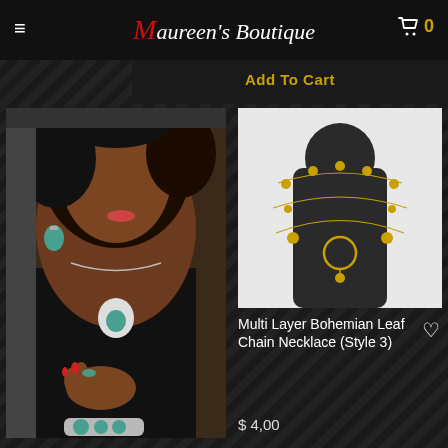Maureen's Boutique — navigation header with hamburger menu and cart icon (0 items)
Add To Cart
[Figure (photo): Woman wearing turquoise silver jewelry set including necklace with pendant, bracelet, and earrings, dressed in black top]
[Figure (photo): Black mannequin bust displaying a multi-layer gold bohemian leaf chain necklace with coin and ring pendants]
Multi Layer Bohemian Leaf Chain Necklace (Style 3)
$ 4,00